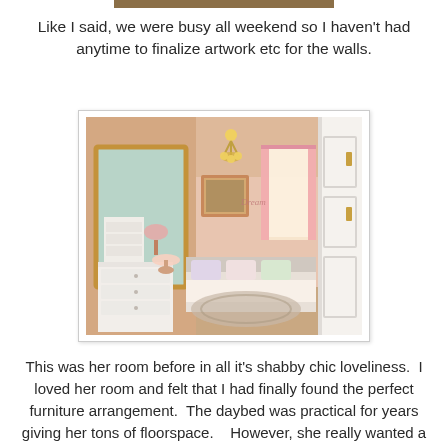Like I said, we were busy all weekend so I haven't had anytime to finalize artwork etc for the walls.
[Figure (photo): Interior photo of a girl's shabby chic bedroom with pink walls, chandelier, daybed, white dresser, and large mirror.]
This was her room before in all it's shabby chic loveliness.  I loved her room and felt that I had finally found the perfect furniture arrangement.  The daybed was practical for years giving her tons of floorspace.   However, she really wanted a full size bed along with more of a tween look (or at least in her mind what a tween room should look like).  That meant brightening up three of the walls, ripping up the carpet to